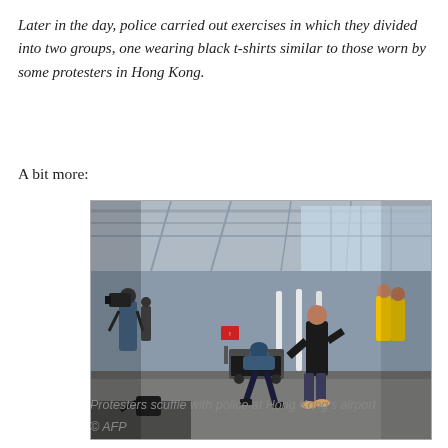Later in the day, police carried out exercises in which they divided into two groups, one wearing black t-shirts similar to those worn by some protesters in Hong Kong.
A bit more:
[Figure (photo): Protesters scuffling with police at Hong Kong's airport. A person in a helmet is falling backward in a luggage cart while others in black and blue clothing are around them. Media personnel with cameras are visible on the left. Yellow-vested people are in the background.]
Protesters scuffle with police at Hong Kong's airport
© AFP